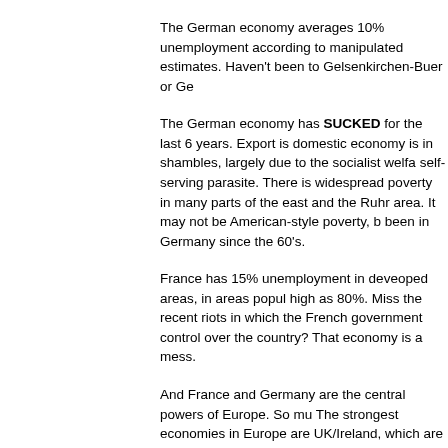The German economy averages 10% unemployment according to manipulated estimates. Haven't been to Gelsenkirchen-Buer or Ge
The German economy has SUCKED for the last 6 years. Export is domestic economy is in shambles, largely due to the socialist welfa self-serving parasite. There is widespread poverty in many parts of the east and the Ruhr area. It may not be American-style poverty, b been in Germany since the 60's.
France has 15% unemployment in deveoped areas, in areas popul high as 80%. Miss the recent riots in which the French government control over the country? That economy is a mess.
And France and Germany are the central powers of Europe. So mu The strongest economies in Europe are UK/Ireland, which are look US-style capitalism than ever before, as well as Spain and Norther hopeless). Particularly Italy is adopting more liberal economic polic
EU may look strong on paper, but the individual countries suffer inc overbearing EU government in Brussels (please note that Europe i government that WASNT ELECTED but rather APPOINTED, so mu its very best to suck the life out of its supposed economic engine G stretching their ability to support such dead patients as Greece anc the new EE EU members.
I'm not saying the US is in great shape, but much of the EU is hurti